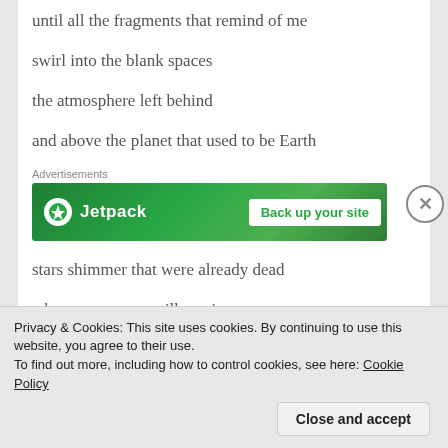until all the fragments that remind of me
swirl into the blank spaces
the atmosphere left behind
and above the planet that used to be Earth
Advertisements
[Figure (other): Jetpack advertisement banner: green background with Jetpack logo and 'Back up your site' call to action button]
stars shimmer that were already dead
when songs were still music.
Privacy & Cookies: This site uses cookies. By continuing to use this website, you agree to their use.
To find out more, including how to control cookies, see here: Cookie Policy